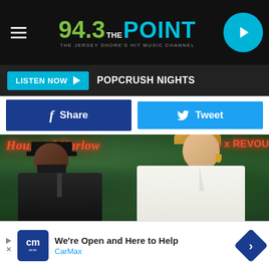94.3 The Point – The Jersey Shore's Hit Music Channel
LISTEN NOW   POPCRUSH NIGHTS
Share   Tweet
[Figure (photo): Two people posing in front of a green plant wall with a House of Harlow / REVOU neon sign backdrop. Man on left wearing black leather jacket and black cap with beard. Woman on right wearing white blazer with gold earrings.]
We're Open and Here to Help
CarMax